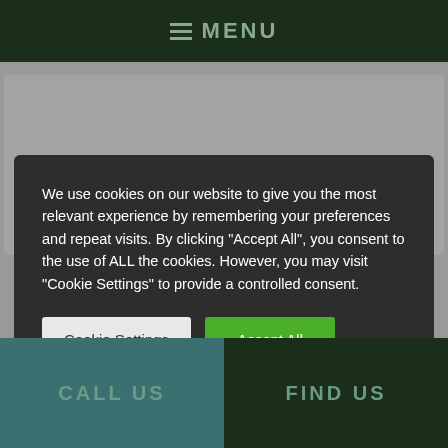MENU
We use cookies on our website to give you the most relevant experience by remembering your preferences and repeat visits. By clicking “Accept All”, you consent to the use of ALL the cookies. However, you may visit “Cookie Settings” to provide a controlled consent.
Cookie Settings
Accept All
CALL US
FIND US